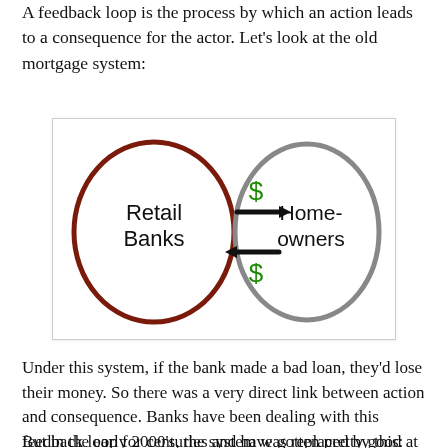A feedback loop is the process by which an action leads to a consequence for the actor. Let's look at the old mortgage system:
[Figure (illustration): Hand-drawn diagram showing two oval shapes connected by bidirectional arrows. Left oval (brown/dark red outline) labeled 'Retail Banks'. Right oval (gray outline) labeled 'Home-owners'. Arrow pointing right from left to right oval with green dollar sign above it (bank gives money). Arrow pointing left from right to left oval with green dollar sign below it (homeowner repays).]
Under this system, if the bank made a bad loan, they'd lose their money. So there was a very direct link between action and consequence. Banks have been dealing with this feedback loop for centuries and have gotten pretty good at making only loans that will get repaid.
But in the early 2000's, the system was replaced by this: